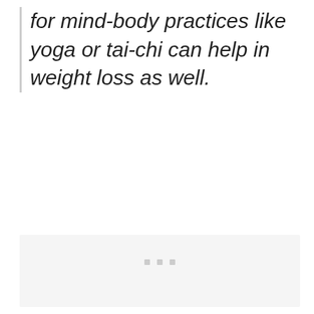for mind-body practices like yoga or tai-chi can help in weight loss as well.